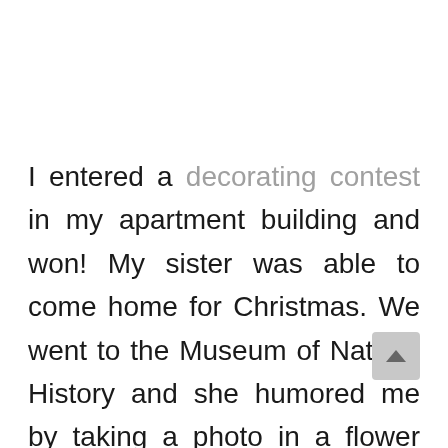I entered a decorating contest in my apartment building and won! My sister was able to come home for Christmas. We went to the Museum of Natural History and she humored me by taking a photo in a flower with me. What a nice sister. She is my only sister so she better keep this up! Like I said before, I love my cats. So let's end this with lots of photos of them. The final photo